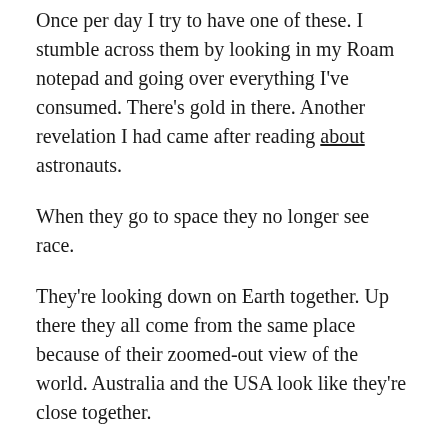Once per day I try to have one of these. I stumble across them by looking in my Roam notepad and going over everything I've consumed. There's gold in there. Another revelation I had came after reading about astronauts.
When they go to space they no longer see race.
They're looking down on Earth together. Up there they all come from the same place because of their zoomed-out view of the world. Australia and the USA look like they're close together.
Reflect on all you've read at the end of the day. Aha moments will happen.